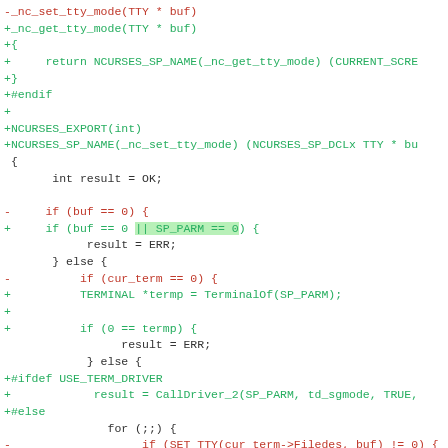[Figure (screenshot): A code diff showing changes to a C source file dealing with ncurses tty mode functions. Red lines are deletions, green lines are additions, with one highlighted addition showing SP_PARM == 0 condition.]